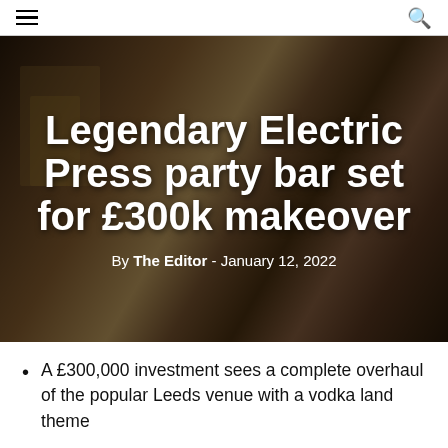≡  🔍
[Figure (photo): Interior of the Electric Press bar venue in Leeds, with industrial-style decor, yellow chairs, wooden surfaces, and striped barber-pole style pillars. The image has a dark overlay with bold white text overlaid.]
Legendary Electric Press party bar set for £300k makeover
By The Editor - January 12, 2022
A £300,000 investment sees a complete overhaul of the popular Leeds venue with a vodka land theme